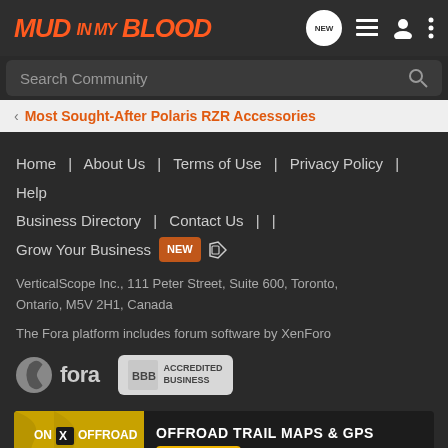MUD IN MY BLOOD
Search Community
< Most Sought-After Polaris RZR Accessories
Home | About Us | Terms of Use | Privacy Policy | Help
Business Directory | Contact Us | |
Grow Your Business NEW (RSS)
VerticalScope Inc., 111 Peter Street, Suite 600, Toronto, Ontario, M5V 2H1, Canada
The Fora platform includes forum software by XenForo
[Figure (logo): Fora logo with stylized icon and BBB Accredited Business badge]
[Figure (infographic): ON X OFFROAD - OFFROAD TRAIL MAPS & GPS - Try for Free advertisement banner]